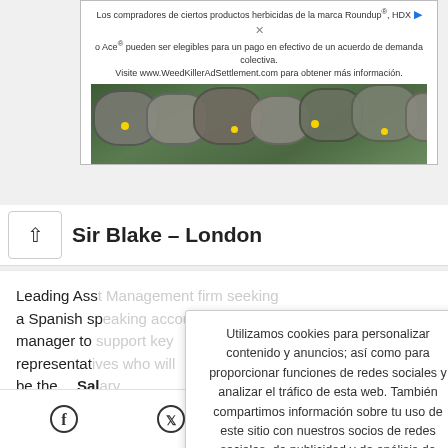[Figure (screenshot): Advertisement banner for Roundup/HDX/Ace herbicide class action settlement. Text reads: 'Los compradores de ciertos productos herbicidas de la marca Roundup®, HDX o Ace® pueden ser elegibles para un pago en efectivo de un acuerdo de demanda colectiva. Visite www.WeedKillerAdSettlement.com para obtener más información.' Below is a photo of stone pavers with grass and yellow flowers.]
Sir Blake – London
Leading Ass... a Spanish sp... manager to... representat... be the... Sal...
Utilizamos cookies para personalizar contenido y anuncios; así como para proporcionar funciones de redes sociales y analizar el tráfico de esta web. También compartimos información sobre tu uso de este sitio con nuestros socios de redes sociales, de publicidad y de análisis de tráfico.
Aceptar   Más
[Figure (screenshot): Footer with social media share icons: Facebook, Twitter, Email, WhatsApp]